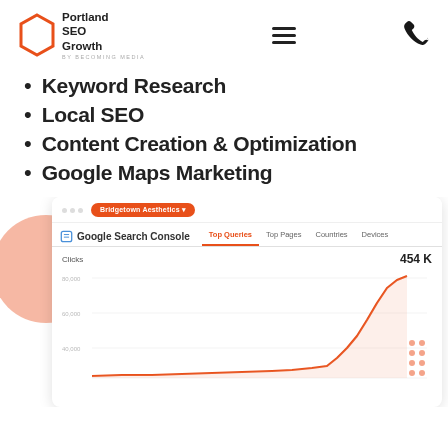Portland SEO Growth by Becoming Media
Keyword Research
Local SEO
Content Creation & Optimization
Google Maps Marketing
[Figure (screenshot): Google Search Console screenshot showing a line chart with Clicks metric at 454K. The chart shows an upward-trending orange line with y-axis labels at 40,000, 60,000, and 40,000. Tabs shown: Top Queries (active), Top Pages, Countries, Devices. A pink circle decorative element is behind the card. An orange pill button reads 'Bridgetown Aesthetics'.]